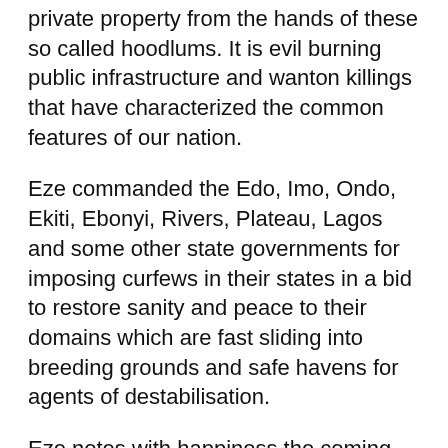private property from the hands of these so called hoodlums. It is evil burning public infrastructure and wanton killings that have characterized the common features of our nation.
Eze commanded the Edo, Imo, Ondo, Ekiti, Ebonyi, Rivers, Plateau, Lagos and some other state governments for imposing curfews in their states in a bid to restore sanity and peace to their domains which are fast sliding into breeding grounds and safe havens for agents of destabilisation.
Eze notes with happiness the coming back on air of TVCN after the massive destruction of the Station. With the type of zeal and spirit exhibited by the Management and staff of this award winning station shows that no matter the damages and destruction that occurred in various States we can still rebuild our nation.